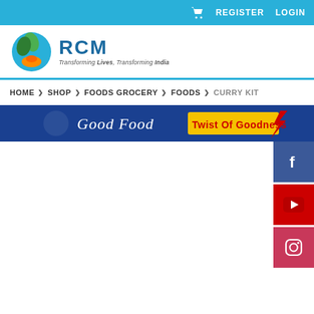REGISTER  LOGIN
[Figure (logo): RCM logo with tagline: Transforming Lives, Transforming India]
HOME > SHOP > FOODS GROCERY > FOODS > CURRY KIT
[Figure (illustration): Banner with text: Good Food Twist Of Goodness]
[Figure (illustration): Facebook social media button]
[Figure (illustration): YouTube social media button]
[Figure (illustration): Instagram social media button]